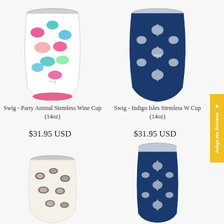[Figure (photo): Swig Party Animal Stemless Wine Cup with colorful pink, teal, green leopard print pattern on white background]
Swig - Party Animal Stemless Wine Cup (14oz)
$31.95 USD
[Figure (photo): Swig Indigo Isles Stemless Wine Cup with navy blue and white geometric/ikat pattern]
Swig - Indigo Isles Stemless Wine Cup (14oz)
$31.95 USD
[Figure (photo): Swig stemless cup with black, pink, and beige leopard print pattern on cream/white background]
[Figure (photo): Swig tall tumbler with navy blue and white geometric/ikat pattern]